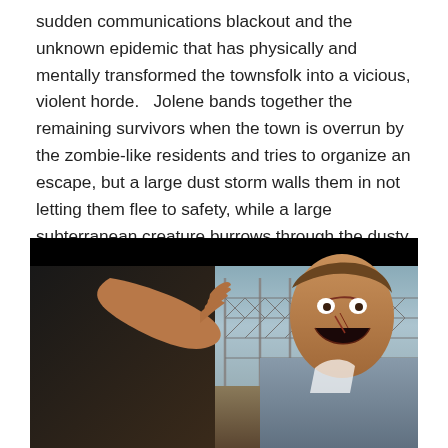sudden communications blackout and the unknown epidemic that has physically and mentally transformed the townsfolk into a vicious, violent horde.   Jolene bands together the remaining survivors when the town is overrun by the zombie-like residents and tries to organize an escape, but a large dust storm walls them in not letting them flee to safety, while a large subterranean creature burrows through the dusty landscape intent on searching for the infected.
[Figure (photo): A movie still showing a zombie-like man screaming with his arm outstretched toward the camera, standing in front of a chain-link fence. The image has a black bar at the top and is set in an outdoor, dusty environment.]